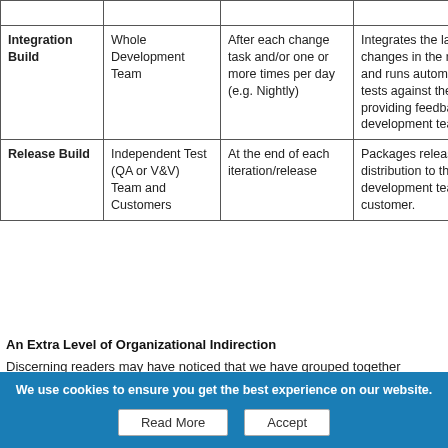|  |  |  |  |
| --- | --- | --- | --- |
| Integration Build | Whole Development Team | After each change task and/or one or more times per day (e.g. Nightly) | Integrates the latest changes in the repository and runs automated tests against the release providing feedback to the development team. |
| Release Build | Independent Test (QA or V&V) Team and Customers | At the end of each iteration/release | Packages release for distribution to the development team's customer. |
An Extra Level of Organizational Indirection
Discerning readers may have noticed that we have grouped together
We use cookies to ensure you get the best experience on our website.